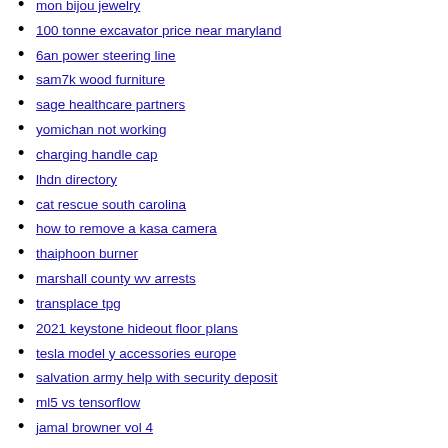mon bijou jewelry
100 tonne excavator price near maryland
6an power steering line
sam7k wood furniture
sage healthcare partners
yomichan not working
charging handle cap
lhdn directory
cat rescue south carolina
how to remove a kasa camera
thaiphoon burner
marshall county wv arrests
transplace tpg
2021 keystone hideout floor plans
tesla model y accessories europe
salvation army help with security deposit
ml5 vs tensorflow
jamal browner vol 4
24x36 gold frame hobby lobby
c64 pla pinout
20x4 lcd code example
vet tech pharmacology math
remanufactured cvt transmission
logan flooding 2022
how to unwrap luna